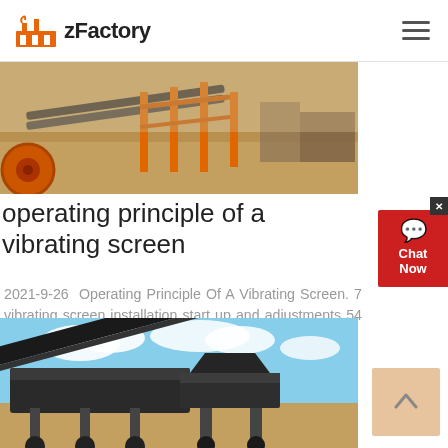zFactory
[Figure (photo): Industrial conveyor belt system with orange metal framework at a mining or quarrying site, photographed outdoors]
operating principle of a vibrating screen
2021-9-26  Operating Principle Of A Vibrating Screen. 7 vibrating screen installation start up and adjustments 54 8 operation and maintenance of vibrating screens.
[Figure (photo): Mobile crusher or vibrating screen machinery at a quarry site with blue sky in the background]